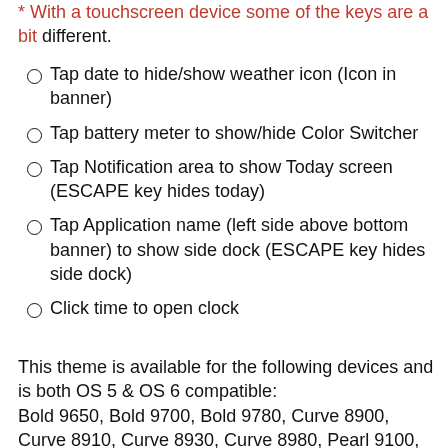* With a touchscreen device some of the keys are a bit different.
Tap date to hide/show weather icon (Icon in banner)
Tap battery meter to show/hide Color Switcher
Tap Notification area to show Today screen (ESCAPE key hides today)
Tap Application name (left side above bottom banner) to show side dock (ESCAPE key hides side dock)
Click time to open clock
This theme is available for the following devices and is both OS 5 & OS 6 compatible:
Bold 9650, Bold 9700, Bold 9780, Curve 8900,
Curve 8910, Curve 8930, Curve 8980, Pearl 9100,